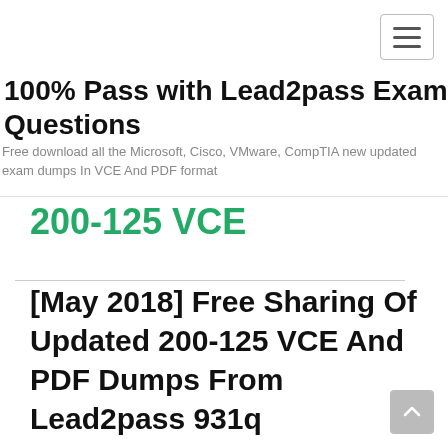100% Pass with Lead2pass Exam Questions
Free download all the Microsoft, Cisco, VMware, CompTIA new updated exam dumps In VCE And PDF format
200-125 VCE
[May 2018] Free Sharing Of Updated 200-125 VCE And PDF Dumps From Lead2pass 931q